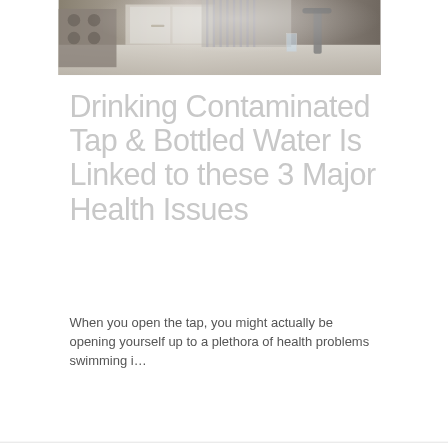[Figure (photo): Person reaching toward a kitchen faucet on a marble countertop, with stove and cabinetry visible in the background]
Drinking Contaminated Tap & Bottled Water Is Linked to these 3 Major Health Issues
When you open the tap, you might actually be opening yourself up to a plethora of health problems swimming i…